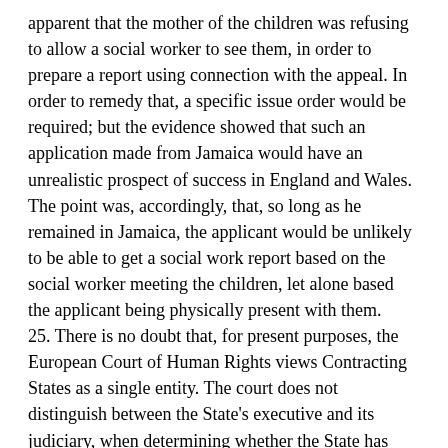apparent that the mother of the children was refusing to allow a social worker to see them, in order to prepare a report using connection with the appeal. In order to remedy that, a specific issue order would be required; but the evidence showed that such an application made from Jamaica would have an unrealistic prospect of success in England and Wales. The point was, accordingly, that, so long as he remained in Jamaica, the applicant would be unlikely to be able to get a social work report based on the social worker meeting the children, let alone based the applicant being physically present with them.
25. There is no doubt that, for present purposes, the European Court of Human Rights views Contracting States as a single entity. The court does not distinguish between the State's executive and its judiciary, when determining whether the State has breached an applicant's ECHR rights. Thus, for example, in McCann v United Kingdom (2008) 47 EHRR 40, the court found a breach of Article 8 because neither the local authority,